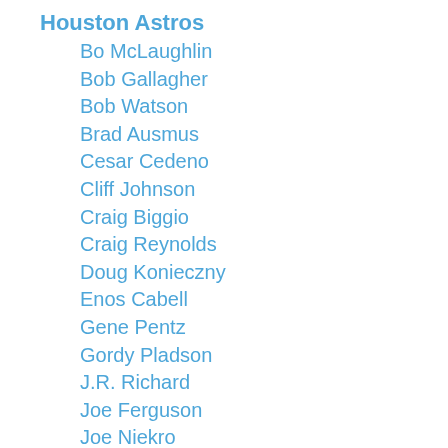Houston Astros
Bo McLaughlin
Bob Gallagher
Bob Watson
Brad Ausmus
Cesar Cedeno
Cliff Johnson
Craig Biggio
Craig Reynolds
Doug Konieczny
Enos Cabell
Gene Pentz
Gordy Pladson
J.R. Richard
Joe Ferguson
Joe Niekro
Jose Cruz
Ken Boswell
Ken Forsch
Larry Dierker